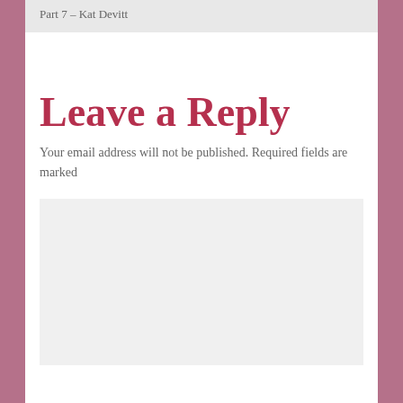Part 7 – Kat Devitt
Leave a Reply
Your email address will not be published. Required fields are marked